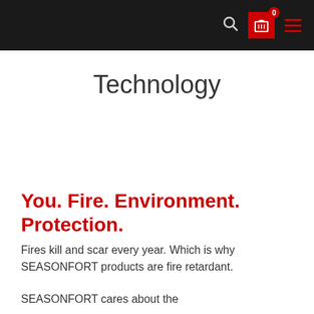Navigation bar with search icon, cart (0), and hamburger menu
Technology
You. Fire. Environment. Protection.
Fires kill and scar every year. Which is why SEASONFORT products are fire retardant.
SEASONFORT cares about the